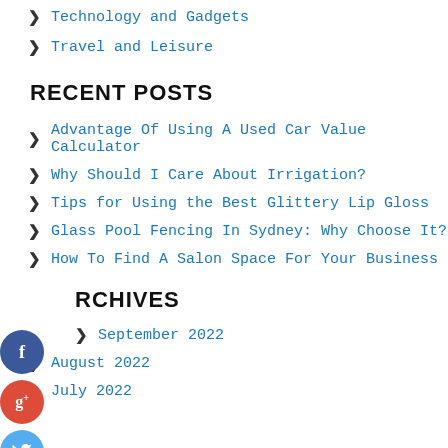Technology and Gadgets
Travel and Leisure
RECENT POSTS
Advantage Of Using A Used Car Value Calculator
Why Should I Care About Irrigation?
Tips for Using the Best Glittery Lip Gloss
Glass Pool Fencing In Sydney: Why Choose It?
How To Find A Salon Space For Your Business
ARCHIVES
September 2022
August 2022
July 2022